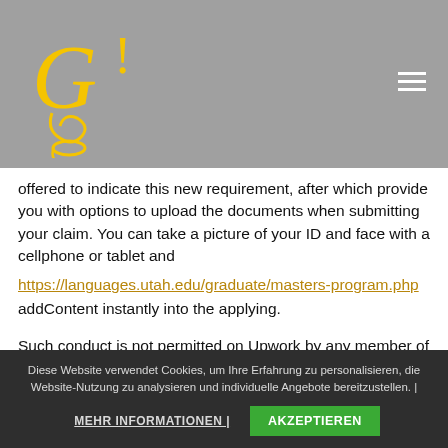[Figure (logo): Stylized yellow G/! logo on grey background header]
offered to indicate this new requirement, after which provide you with options to upload the documents when submitting your claim. You can take a picture of your ID and face with a cellphone or tablet and
https://languages.utah.edu/graduate/masters-program.php
addContent instantly into the applying.
Such conduct is not permitted on Upwork by any member of
Diese Website verwendet Cookies, um Ihre Erfahrung zu personalisieren, die Website-Nutzung zu analysieren und individuelle Angebote bereitzustellen. | MEHR INFORMATIONEN | AKZEPTIEREN